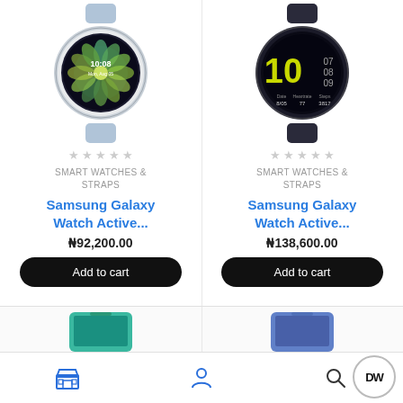[Figure (photo): Samsung Galaxy Watch Active smartwatch with silver/light blue band, displaying floral watch face with time 10:08]
[Figure (photo): Samsung Galaxy Watch Active smartwatch with dark/black band, displaying digital watch face with large yellow '10' and stats]
SMART WATCHES & STRAPS
Samsung Galaxy Watch Active...
₦92,200.00
Add to cart
SMART WATCHES & STRAPS
Samsung Galaxy Watch Active...
₦138,600.00
Add to cart
[Figure (photo): Bottom partially visible product - appears to be a smartphone with teal/green color]
[Figure (photo): Bottom partially visible product - appears to be a blue/purple smartphone]
Navigation bar with store icon, user/profile icon, and search icon. DW logo in bottom right corner.